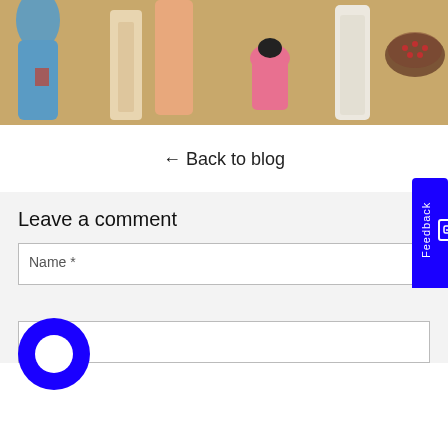[Figure (illustration): Cropped section of a Chinese classical painting showing figures in traditional robes on a golden-ochre background. Figures include a person in blue robes on the left, figures in peach/cream robes in the center, a smaller figure bowing in pink, and a figure in white on the right near a decorative dish.]
← Back to blog
Leave a comment
Name *
Email *